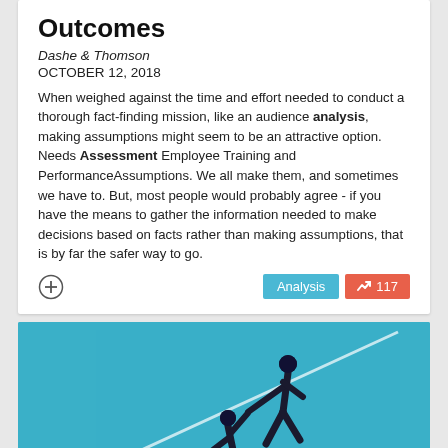Outcomes
Dashe & Thomson
OCTOBER 12, 2018
When weighed against the time and effort needed to conduct a thorough fact-finding mission, like an audience analysis, making assumptions might seem to be an attractive option. Needs Assessment Employee Training and PerformanceAssumptions. We all make them, and sometimes we have to. But, most people would probably agree - if you have the means to gather the information needed to make decisions based on facts rather than making assumptions, that is by far the safer way to go.
[Figure (illustration): Stylized illustration on a teal/blue background showing one dark silhouette figure helping pull up another figure on a diagonal slope or line]